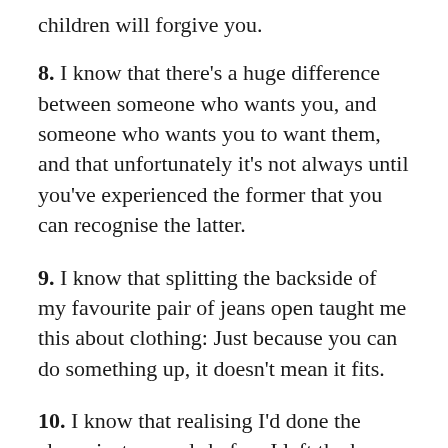children will forgive you.
8. I know that there’s a huge difference between someone who wants you, and someone who wants you to want them, and that unfortunately it’s not always until you’ve experienced the former that you can recognise the latter.
9. I know that splitting the backside of my favourite pair of jeans open taught me this about clothing: Just because you can do something up, it doesn’t mean it fits.
10. I know that realising I’d done the above just seconds before I left the house to go to brunch taught me you should ALWAYS CHECK YOUR REAR VIEW BEFORE STEPPING OUTSIDE.